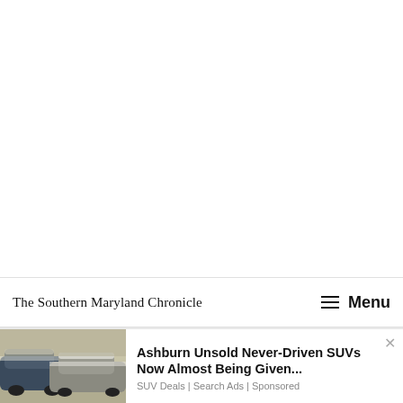The Southern Maryland Chronicle   ☰ Menu
[Figure (photo): Advertisement photo showing dusty/snow-covered unsold SUVs parked in a lot]
Ashburn Unsold Never-Driven SUVs Now Almost Being Given...
SUV Deals | Search Ads | Sponsored